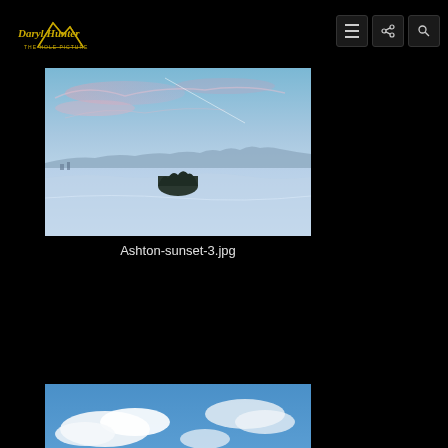Daryl Hunter - The Hole Picture [logo] + nav icons
[Figure (photo): Winter landscape at sunset showing snow-covered field with mountains in background and cluster of dark trees in foreground, blue and pink sky tones]
Ashton-sunset-3.jpg
[Figure (photo): Partial view of a blue sky with white clouds, cropped at bottom of page]